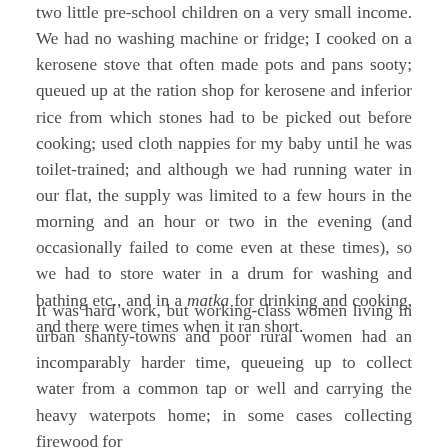two little pre-school children on a very small income. We had no washing machine or fridge; I cooked on a kerosene stove that often made pots and pans sooty; queued up at the ration shop for kerosene and inferior rice from which stones had to be picked out before cooking; used cloth nappies for my baby until he was toilet-trained; and although we had running water in our flat, the supply was limited to a few hours in the morning and an hour or two in the evening (and occasionally failed to come even at these times), so we had to store water in a drum for washing and bathing etc., and in a matka for drinking and cooking, and there were times when it ran short.
It was hard work, but working-class women living in urban shanty-towns and poor rural women had an incomparably harder time, queueing up to collect water from a common tap or well and carrying the heavy waterpots home; in some cases collecting firewood for